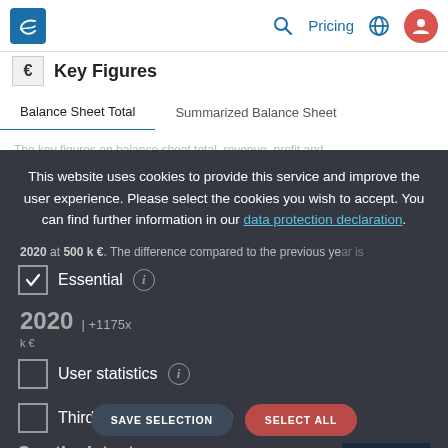Key Figures — Navigation bar with logo, Pricing, globe, user icon
€ Key Figures
Balance Sheet Total | Summarized Balance Sheet
The key figures on balance sheet total, revenue, profit and
This website uses cookies to provide this service and improve the user experience. Please select the cookies you wish to accept. You can find further information in our data protection declaration.
2020 at 500 k €. The difference compared to the previous year is...
Essential
2020 | +1175x
User statistics
k €
Third Party Tracking
See the latest entries
400
With a free
SAVE SELECTION
SELECT ALL